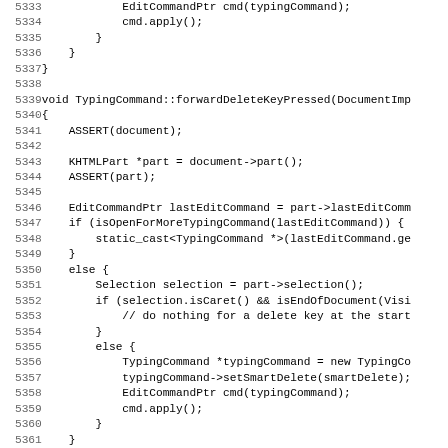Source code listing lines 5333-5365, showing C++ implementation of TypingCommand::forwardDeleteKeyPressed and TypingCommand::insertText methods